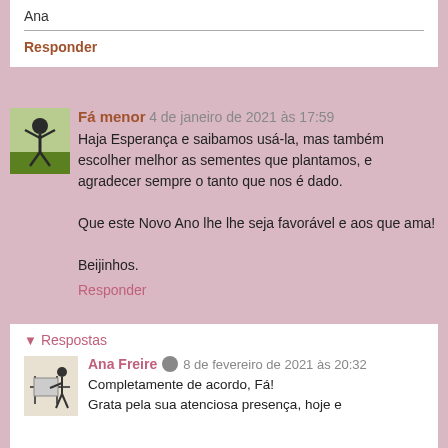Ana
Responder
Fá menor  4 de janeiro de 2021 às 17:59
Haja Esperança e saibamos usá-la, mas também escolher melhor as sementes que plantamos, e agradecer sempre o tanto que nos é dado.

Que este Novo Ano lhe lhe seja favorável e aos que ama!

Bejinhos.
Responder
Respostas
Ana Freire  8 de fevereiro de 2021 às 20:32
Completamente de acordo, Fá!
Grata pela sua atenciosa presença, hoje e